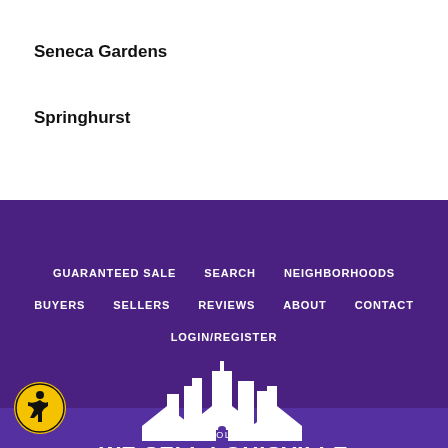Seneca Gardens
Springhurst
GUARANTEED SALE   SEARCH   NEIGHBORHOODS   BUYERS   SELLERS   REVIEWS   ABOUT   CONTACT   LOGIN/REGISTER
[Figure (logo): The Sokoler Team - We Sell Louisville logo with city skyline and house rooftops in white on purple background]
The Sokoler Medley Team